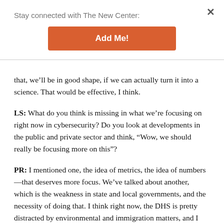Stay connected with The New Center:
Add Me!
that, we’ll be in good shape, if we can actually turn it into a science. That would be effective, I think.
LS: What do you think is missing in what we’re focusing on right now in cybersecurity? Do you look at developments in the public and private sector and think, “Wow, we should really be focusing more on this”?
PR: I mentioned one, the idea of metrics, the idea of numbers—that deserves more focus. We’ve talked about another, which is the weakness in state and local governments, and the necessity of doing that. I think right now, the DHS is pretty distracted by environmental and immigration matters, and I think as a result we haven’t been putting as much effort into